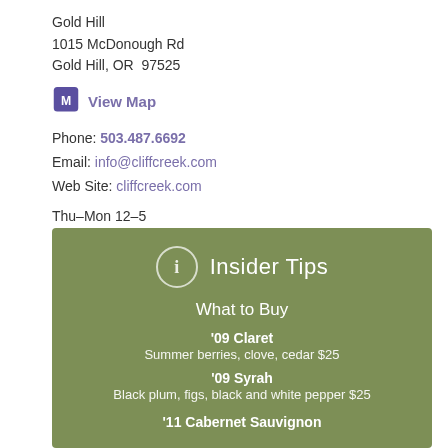Gold Hill
1015 McDonough Rd
Gold Hill, OR  97525
View Map
Phone: 503.487.6692
Email: info@cliffcreek.com
Web Site: cliffcreek.com
Thu–Mon 12–5
Insider Tips
What to Buy
'09 Claret
Summer berries, clove, cedar $25
'09 Syrah
Black plum, figs, black and white pepper $25
'11 Cabernet Sauvignon